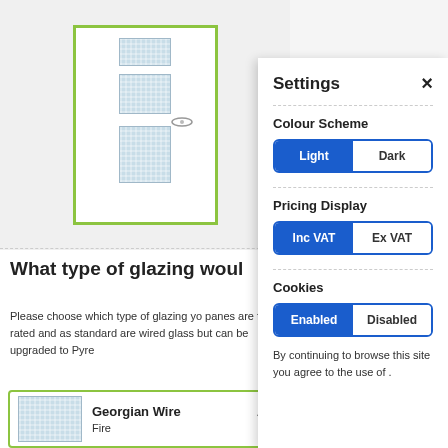[Figure (illustration): Door illustration with three glass panes and a handle, shown inside a green-bordered frame on a light gray background]
What type of glazing woul
Please choose which type of glazing yo panes are fire rated and as standard are wired glass but can be upgraded to Pyre
[Figure (illustration): Georgian Wired glass panel illustration with blue crosshatch pattern, inside green bordered card. Shows card title 'Georgian Wire' and sub-text 'Fire' with a chevron/arrow icon]
Settings
Colour Scheme
[Figure (screenshot): Toggle button group with 'Light' (active, blue) and 'Dark' (inactive, white) options]
Pricing Display
[Figure (screenshot): Toggle button group with 'Inc VAT' (active, blue) and 'Ex VAT' (inactive, white) options]
Cookies
[Figure (screenshot): Toggle button group with 'Enabled' (active, blue) and 'Disabled' (inactive, white) options]
By continuing to browse this site you agree to the use of .